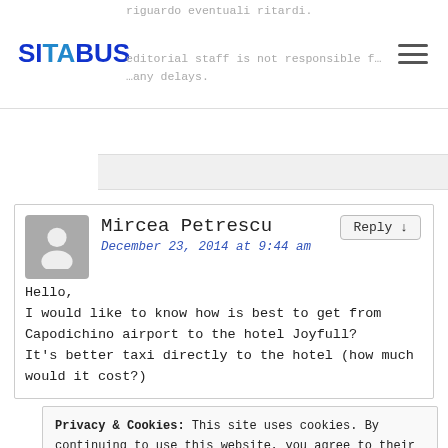SITABUS
riguardo eventuali ritardi.
editorial staff is not responsible for any delays.
Mircea Petrescu
December 23, 2014 at 9:44 am
Hello,
I would like to know how is best to get from Capodichino airport to the hotel Joyfull?
It’s better taxi directly to the hotel (how much would it cost?)
Privacy & Cookies: This site uses cookies. By continuing to use this website, you agree to their use.
To find out more, including how to control cookies, see here: Cookie Policy